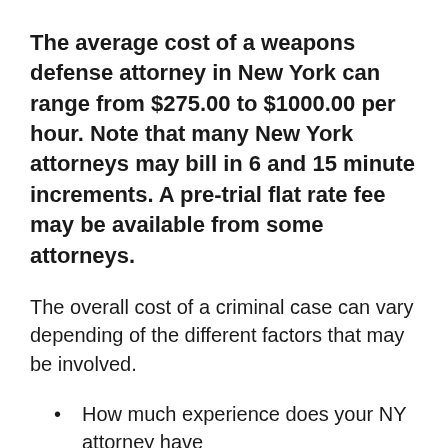The average cost of a weapons defense attorney in New York can range from $275.00 to $1000.00 per hour. Note that many New York attorneys may bill in 6 and 15 minute increments. A pre-trial flat rate fee may be available from some attorneys.
The overall cost of a criminal case can vary depending of the different factors that may be involved.
How much experience does your NY attorney have
Was it a misdemeanor or felony